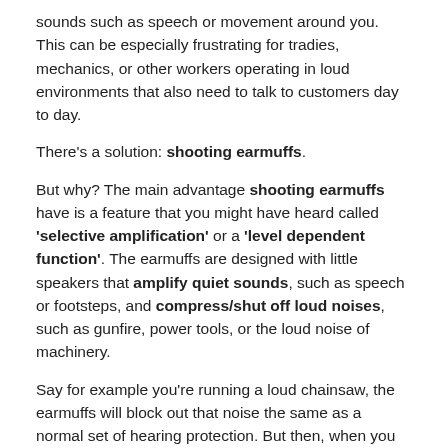sounds such as speech or movement around you. This can be especially frustrating for tradies, mechanics, or other workers operating in loud environments that also need to talk to customers day to day.
There's a solution: shooting earmuffs.
But why? The main advantage shooting earmuffs have is a feature that you might have heard called 'selective amplification' or a 'level dependent function'. The earmuffs are designed with little speakers that amplify quiet sounds, such as speech or footsteps, and compress/shut off loud noises, such as gunfire, power tools, or the loud noise of machinery.
Say for example you're running a loud chainsaw, the earmuffs will block out that noise the same as a normal set of hearing protection. But then, when you turn the saw off and your mate is talking to you, the earmuffs will identify and amplify that conversation, sending their voice clearly through to your ears, without requiring you to take off your muffs. This is a huge advantage, allowing your ears to be continuously protected from harm, giving you while also...